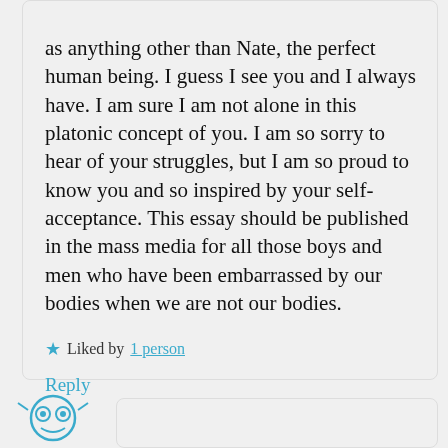as anything other than Nate, the perfect human being. I guess I see you and I always have. I am sure I am not alone in this platonic concept of you. I am so sorry to hear of your struggles, but I am so proud to know you and so inspired by your self-acceptance. This essay should be published in the mass media for all those boys and men who have been embarrassed by our bodies when we are not our bodies.
Liked by 1 person
Reply